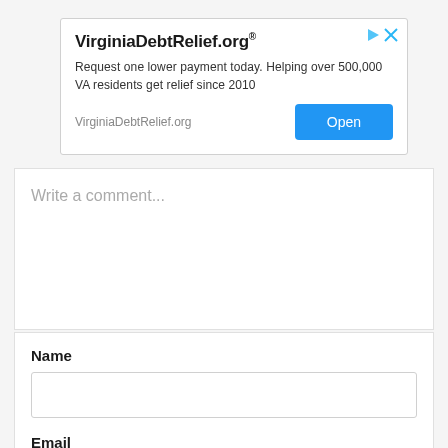[Figure (screenshot): Advertisement banner for VirginiaDebtRelief.org with title, body text, URL, and Open button]
Write a comment...
Name
Email